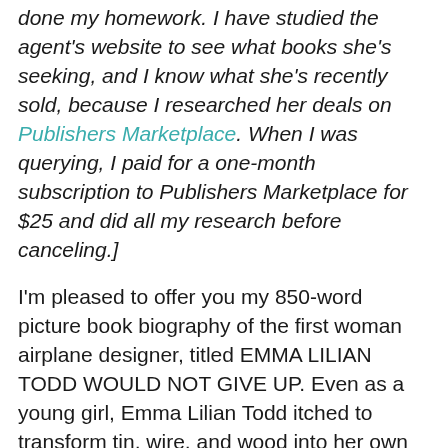done my homework. I have studied the agent's website to see what books she's seeking, and I know what she's recently sold, because I researched her deals on Publishers Marketplace. When I was querying, I paid for a one-month subscription to Publishers Marketplace for $25 and did all my research before canceling.]
I'm pleased to offer you my 850-word picture book biography of the first woman airplane designer, titled EMMA LILIAN TODD WOULD NOT GIVE UP. Even as a young girl, Emma Lilian Todd itched to transform tin, wire, and wood into her own inventions. When Lilian sees a crow circling overhead one day, she hatches a plan to build a bird-like airplane. In a time when men — and only men — are still learning the science of flight, Lilian hitches up her skirts and rolls up her sleeves,